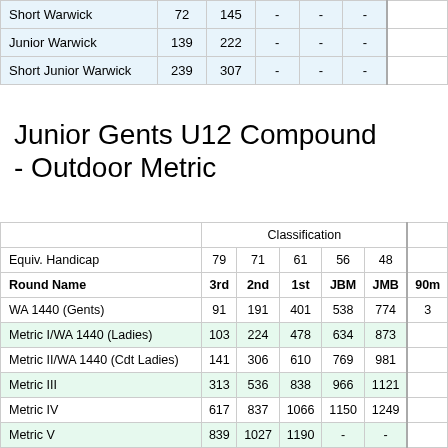|  |  |  |  |  |  |  |
| --- | --- | --- | --- | --- | --- | --- |
| Short Warwick | 72 | 145 | - | - | - |  |
| Junior Warwick | 139 | 222 | - | - | - |  |
| Short Junior Warwick | 239 | 307 | - | - | - |  |
Junior Gents U12 Compound - Outdoor Metric
|  | Classification |  |  |  |  | 90m |
| --- | --- | --- | --- | --- | --- | --- |
| Equiv. Handicap | 79 | 71 | 61 | 56 | 48 |  |
| Round Name | 3rd | 2nd | 1st | JBM | JMB | 90m |
| WA 1440 (Gents) | 91 | 191 | 401 | 538 | 774 | 3 |
| Metric I/WA 1440 (Ladies) | 103 | 224 | 478 | 634 | 873 |  |
| Metric II/WA 1440 (Cdt Ladies) | 141 | 306 | 610 | 769 | 981 |  |
| Metric III | 313 | 536 | 838 | 966 | 1121 |  |
| Metric IV | 617 | 837 | 1066 | 1150 | 1249 |  |
| Metric V | 839 | 1027 | 1190 | - | - |  |